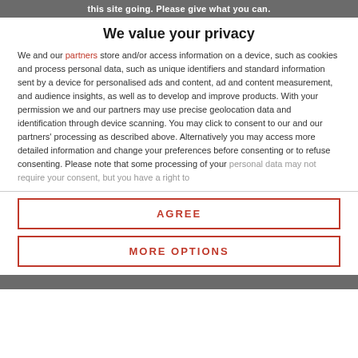this site going. Please give what you can.
We value your privacy
We and our partners store and/or access information on a device, such as cookies and process personal data, such as unique identifiers and standard information sent by a device for personalised ads and content, ad and content measurement, and audience insights, as well as to develop and improve products. With your permission we and our partners may use precise geolocation data and identification through device scanning. You may click to consent to our and our partners' processing as described above. Alternatively you may access more detailed information and change your preferences before consenting or to refuse consenting. Please note that some processing of your personal data may not require your consent, but you have a right to
AGREE
MORE OPTIONS